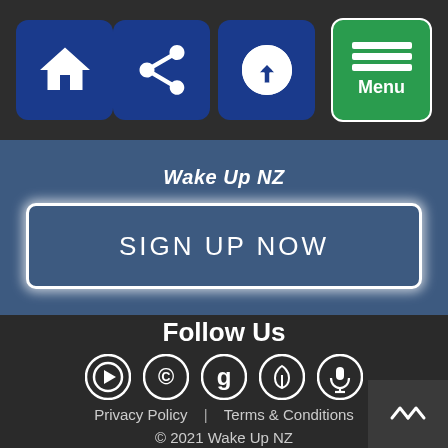[Figure (screenshot): Navigation bar with home icon, share icon, dollar/download icon, and green Menu button]
Wake Up NZ
SIGN UP NOW
Follow Us
[Figure (infographic): Five circular social media/platform icons in a row]
Privacy Policy | Terms & Conditions
© 2021 Wake Up NZ